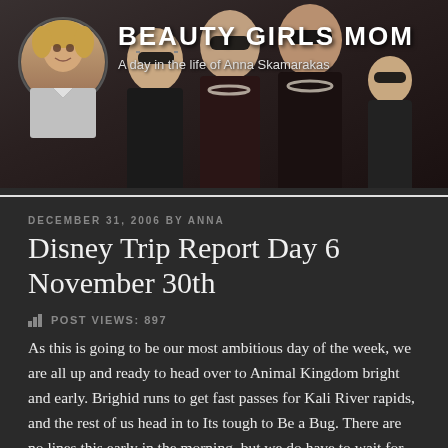[Figure (photo): Blog header banner with group photo of women wearing sunglasses, pearl necklaces in dark background, with circular profile photo of an older blonde woman on the left side]
BEAUTY GIRLS MOM
A day in the life of Anna Skamarakas
DECEMBER 31, 2006 BY ANNA
Disney Trip Report Day 6 November 30th
POST VIEWS: 897
As this is going to be our most ambitious day of the week, we are all up and ready to head over to Animal Kingdom bright and early.  Brighid runs to get fast passes for Kali River rapids, and the rest of us head in to Its tough to Be a Bug.  There are no lines this early in the morning, but we do have to wait for the second show to start.  We are hoping Brighid catches up with us, but she